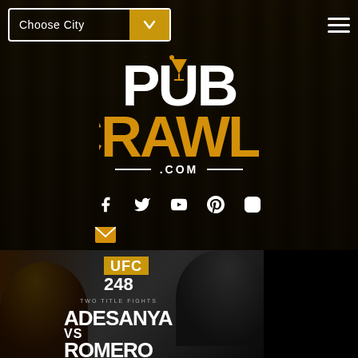[Figure (screenshot): Navigation bar with 'Choose City' dropdown selector (white border, gold arrow button) on the left and hamburger menu icon on the right, overlaid on a dark bar background]
[Figure (logo): PubCrawls.com logo: 'PUB' in white with martini glass icon replacing the U, 'CRAWLS' in gold/orange below, '.COM' in white with decorative lines]
[Figure (other): Social media icons row: Facebook, Twitter, YouTube, Pinterest, Instagram icons in white, and an email/envelope icon below]
[Figure (photo): UFC 248 promotional image showing Adesanya vs Romero fight card. Text reads 'UFC 248', 'TWO TITLE FIGHTS', 'ADESANYA VS ROMERO' with fighter photos on dark background]